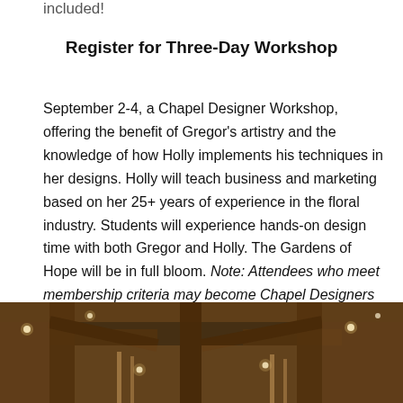included!
Register for Three-Day Workshop
September 2-4, a Chapel Designer Workshop, offering the benefit of Gregor's artistry and the knowledge of how Holly implements his techniques in her designs. Holly will teach business and marketing based on her 25+ years of experience in the floral industry. Students will experience hands-on design time with both Gregor and Holly. The Gardens of Hope will be in full bloom. Note: Attendees who meet membership criteria may become Chapel Designers at the conclusion of the workshop (for membership criteria, click here).
[Figure (photo): Interior of a rustic wooden chapel or barn venue with warm string lights and wooden beam structure visible]